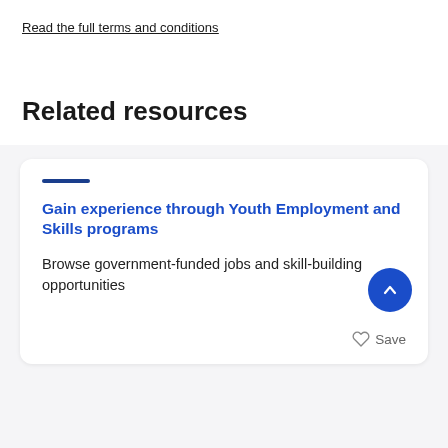Read the full terms and conditions
Related resources
Gain experience through Youth Employment and Skills programs
Browse government-funded jobs and skill-building opportunities